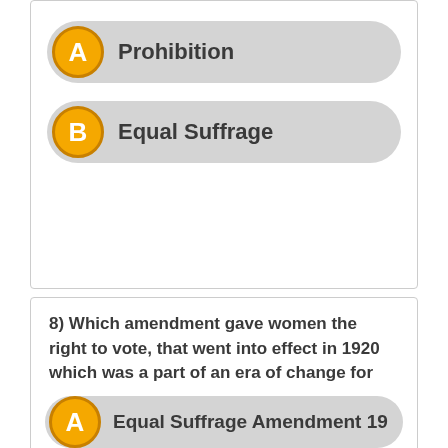A) Prohibition
B) Equal Suffrage
8) Which amendment gave women the right to vote, that went into effect in 1920 which was a part of an era of change for women?
A) Equal Suffrage Amendment 19
B) Prohibition 18TH Amendment